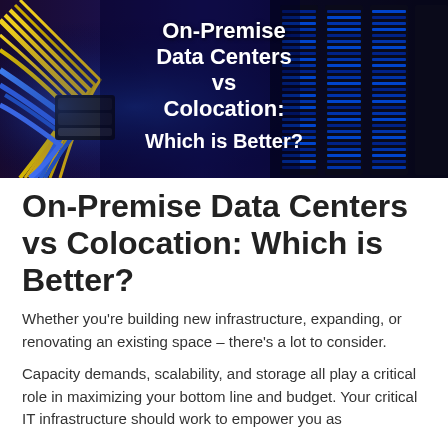[Figure (photo): Data center background image showing fiber optic cables on the left and server racks on the right with blue lighting. White bold text overlay reads: On-Premise Data Centers vs Colocation: Which is Better?]
On-Premise Data Centers vs Colocation: Which is Better?
Whether you’re building new infrastructure, expanding, or renovating an existing space – there’s a lot to consider.
Capacity demands, scalability, and storage all play a critical role in maximizing your bottom line and budget. Your critical IT infrastructure should work to empower you as